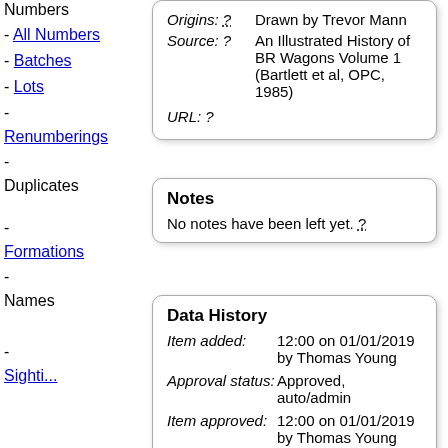Numbers
- All Numbers
- Batches
- Lots
- Renumberings
-
Duplicates
-
Formations
-
Names
-
Sightings
| Field | Value |
| --- | --- |
| Origins: ? | Drawn by Trevor Mann |
| Source: ? | An Illustrated History of BR Wagons Volume 1 (Bartlett et al, OPC, 1985) |
| URL: ? |  |
Notes
No notes have been left yet. ?
Data History
Item added: 12:00 on 01/01/2019 by Thomas Young
Approval status: Approved, auto/admin
Item approved: 12:00 on 01/01/2019 by Thomas Young
This item has not been edited.